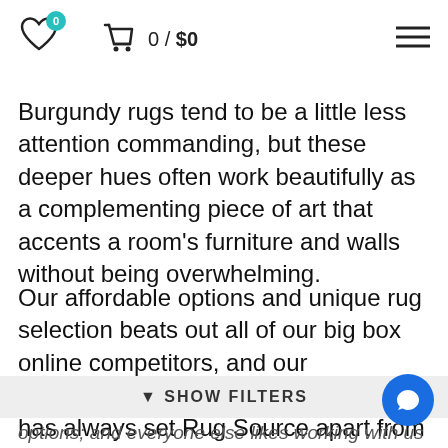0 / $0
Burgundy rugs tend to be a little less attention commanding, but these deeper hues often work beautifully as a complementing piece of art that accents a room’s furniture and walls without being overwhelming.
Our affordable options and unique rug selection beats out all of our big box online competitors, and our unbeatable customer service is what has always set Rug Source apart from the rest of the industry. Professional decorators and interior designers ch…
options; and everyone else likes working with us